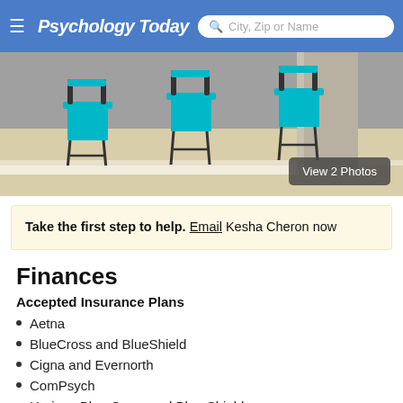Psychology Today — City, Zip or Name
[Figure (photo): Office waiting room with teal chairs on light wood floor]
View 2 Photos
Take the first step to help. Email Kesha Cheron now
Finances
Accepted Insurance Plans
Aetna
BlueCross and BlueShield
Cigna and Evernorth
ComPsych
Horizon Blue Cross and Blue Shield